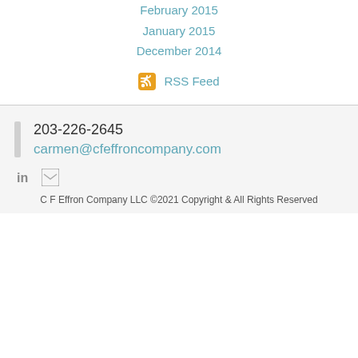February 2015
January 2015
December 2014
RSS Feed
203-226-2645
carmen@cfeffroncompany.com
C F Effron Company LLC ©2021 Copyright & All Rights Reserved